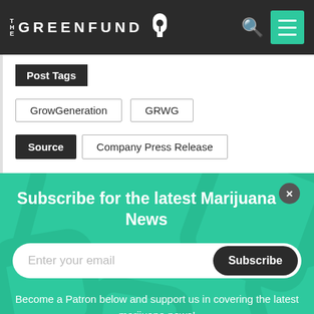THE GREENFUND
Post Tags
GrowGeneration
GRWG
Source  Company Press Release
Subscribe for the latest Marijuana News
Enter your email
Subscribe
Become a Patron below and support us in covering the latest marijuana news!
Become a patron